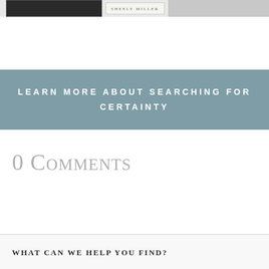[Figure (screenshot): Top strip showing a book cover image (dark/black), an author name label reading 'SHEELY MILLER', and a grey bar to the right]
LEARN MORE ABOUT SEARCHING FOR CERTAINTY
0 Comments
WHAT CAN WE HELP YOU FIND?